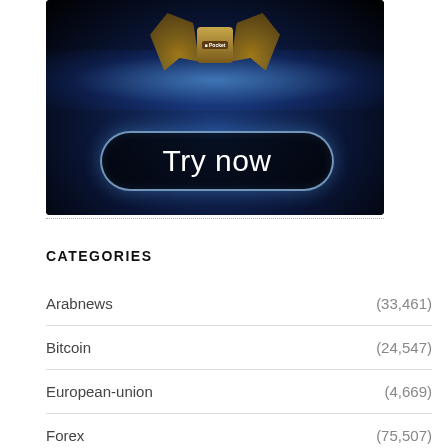[Figure (illustration): Advertisement banner with dark blue/black background, golden trophy with laurel wreaths at top, glowing sparkle effect, and a 'Try now' button with rounded pill border in center-bottom area. Small 'Pocket' logo label on the trophy.]
CATEGORIES
Arabnews (33,461)
Bitcoin (24,547)
European-union (4,669)
Forex (75,507)
Global-news (38,452)